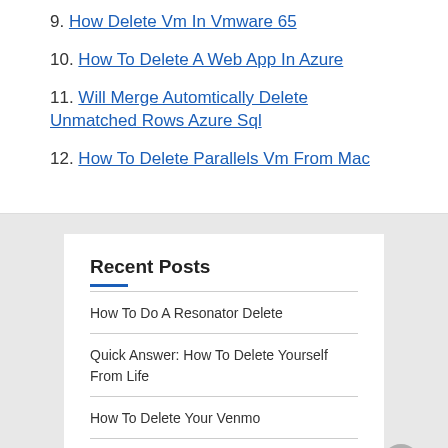9. How Delete Vm In Vmware 65
10. How To Delete A Web App In Azure
11. Will Merge Automtically Delete Unmatched Rows Azure Sql
12. How To Delete Parallels Vm From Mac
Recent Posts
How To Do A Resonator Delete
Quick Answer: How To Delete Yourself From Life
How To Delete Your Venmo
Question: How To Delete Your Kik